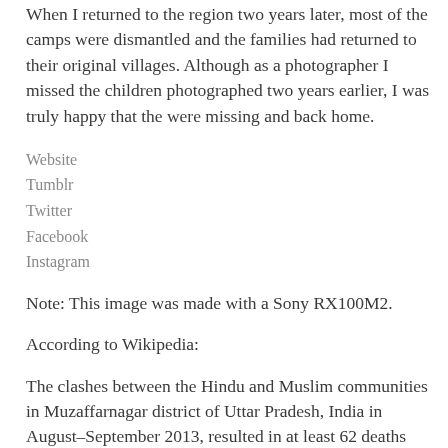When I returned to the region two years later, most of the camps were dismantled and the families had returned to their original villages. Although as a photographer I missed the children photographed two years earlier, I was truly happy that the were missing and back home.
Website
Tumblr
Twitter
Facebook
Instagram
Note: This image was made with a Sony RX100M2.
According to Wikipedia:
The clashes between the Hindu and Muslim communities in Muzaffarnagar district of Uttar Pradesh, India in August–September 2013, resulted in at least 62 deaths including 42 Muslims and 20 Hindus and injured 93 and left more than 50,000 displaced. By 17 September, the curfew was lifted from all riot affected areas and the army was also withdrawn.